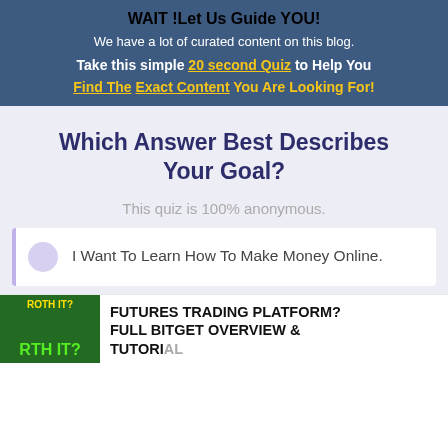WAIT !Let Us Guide YOU!
We have a lot of curated content on this blog.
Take this simple 20 second Quiz to Help You Find The Exact Content You Are Looking For!
Which Answer Best Describes Your Goal?
This quiz is 100% anonymous.
I Want To Learn How To Make Money Online.
FUTURES TRADING PLATFORM? FULL BITGET OVERVIEW & TUTORIAL